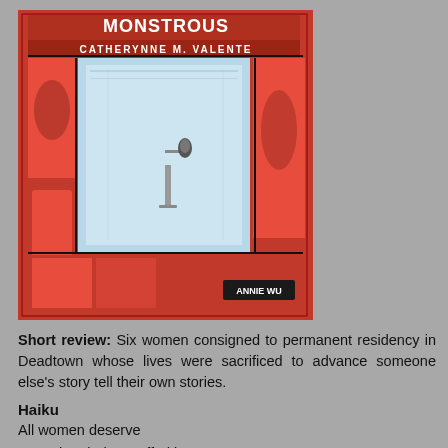[Figure (illustration): Book cover image showing a comic book with the title partially visible at top, author name CATHERYNNE M. VALENTE, illustrated panels with a red and blue color scheme, a microphone stand in a light blue scene, and artist credit ANNIE WU at the bottom]
Short review: Six women consigned to permanent residency in Deadtown whose lives were sacrificed to advance someone else's story tell their own stories.
Haiku
All women deserve
More than being stuffed in a
Refrigerator
Full review: "Fridging" a character specifically refers to an incident in the Green Lantern comic book in which the hero Kyle Rayner's girlfriend Alexandra DeWitt was killed by the villain Major Force and stuffed into a refrigerator for Rayner